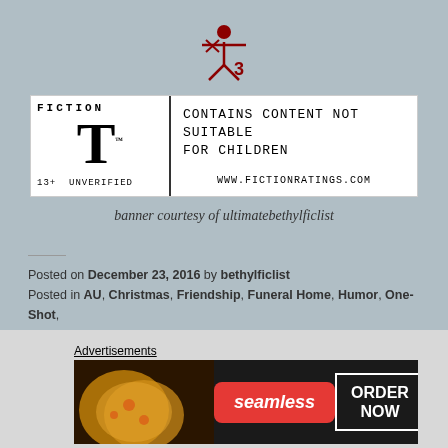[Figure (logo): Red stylized figure/scissors logo (AO3 or similar fan fiction site logo)]
[Figure (infographic): Fiction rating banner: large T with 'FICTION' above, '13+ UNVERIFIED' below, right side reads 'CONTAINS CONTENT NOT SUITABLE FOR CHILDREN' and 'WWW.FICTIONRATINGS.COM']
banner courtesy of ultimatebethylficlist
Posted on December 23, 2016 by bethylficlist
Posted in AU, Christmas, Friendship, Funeral Home, Humor, One-Shot, Rated T, ZA
Tagged bethyl fanfiction.
Leave a comment
Advertisements
[Figure (photo): Seamless food delivery advertisement banner showing pizza slices on left, seamless logo in center, ORDER NOW button on right]